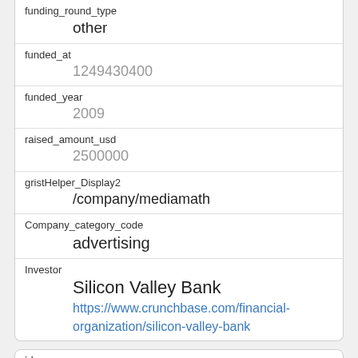| Field | Value |
| --- | --- |
| funding_round_type | other |
| funded_at | 1249430400 |
| funded_year | 2009 |
| raised_amount_usd | 2500000 |
| gristHelper_Display2 | /company/mediamath |
| Company_category_code | advertising |
| Investor | Silicon Valley Bank
https://www.crunchbase.com/financial-organization/silicon-valley-bank |
| Field | Value |
| --- | --- |
| id | 3568 |
| manualSort | 3568 |